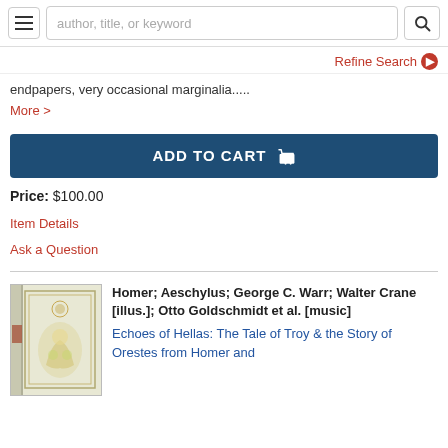author, title, or keyword
Refine Search
endpapers, very occasional marginalia.....
More >
ADD TO CART
Price: $100.00
Item Details
Ask a Question
Homer; Aeschylus; George C. Warr; Walter Crane [illus.]; Otto Goldschmidt et al. [music]
Echoes of Hellas: The Tale of Troy & the Story of Orestes from Homer and
[Figure (photo): Book with cream/ivory cover featuring a decorative illustration]